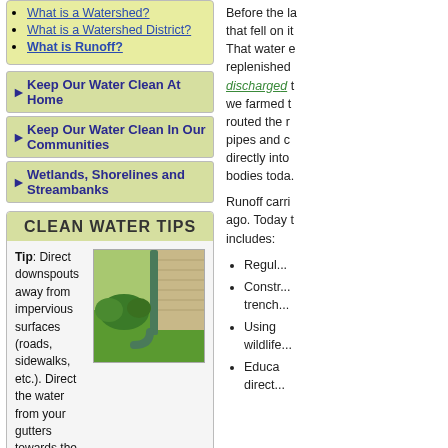What is a Watershed?
What is a Watershed District?
What is Runoff?
Keep Our Water Clean At Home
Keep Our Water Clean In Our Communities
Wetlands, Shorelines and Streambanks
CLEAN WATER TIPS
Tip: Direct downspouts away from impervious surfaces (roads, sidewalks, etc.). Direct the water from your gutters towards the lawn where nutrients will be appreciated. (Learn more about this clean water tip).
[Figure (photo): Photo of a downspout directed away from a house toward a grassy lawn]
Before the land was developed... that fell on it... That water either replenished... discharged... we farmed the land... routed the runoff through pipes and channels directly into... bodies today.
Runoff carries... ago. Today runoff includes:
Regul...
Constr... trench...
Using... wildlife...
Educa... direct...